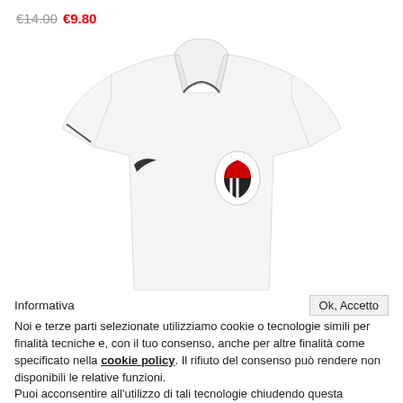€14.00 €9.80
[Figure (photo): White Nike polo shirt with a small football club badge on the chest and Nike swoosh logo.]
Informativa
Ok, Accetto
Noi e terze parti selezionate utilizziamo cookie o tecnologie simili per finalità tecniche e, con il tuo consenso, anche per altre finalità come specificato nella cookie policy. Il rifiuto del consenso può rendere non disponibili le relative funzioni.
Puoi acconsentire all'utilizzo di tali tecnologie chiudendo questa informativa, interagendo con un link o un pulsante al di fuori di questa informativa o continuando a navigare in altro modo.